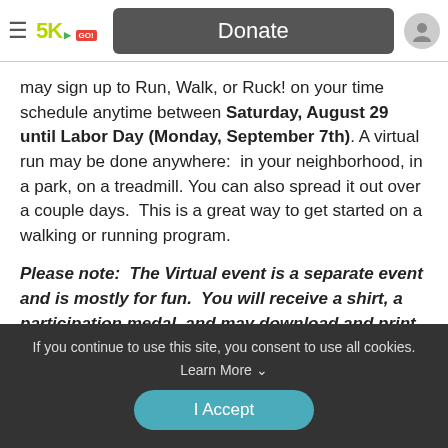≡ 5K [logo] Donate [user icon]
may sign up to Run, Walk, or Ruck! on your time schedule anytime between Saturday, August 29 until Labor Day (Monday, September 7th). A virtual run may be done anywhere:  in your neighborhood, in a park, on a treadmill. You can also spread it out over a couple days.  This is a great way to get started on a walking or running program.
Please note:  The Virtual event is a separate event and is mostly for fun.  You will receive a shirt, a participation medal, and may download and print a digital bib.  Your times, although recorded through the RaceJoy app
If you continue to use this site, you consent to use all cookies. Learn More ∨
I Accept